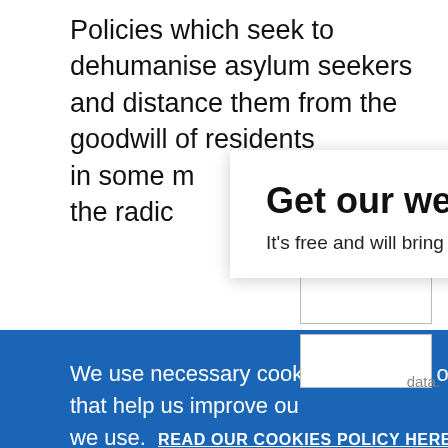Policies which seek to dehumanise asylum seekers and distance them from the goodwill of residents in some m the radic
Get our weekly email
It's free and will bring you the best from
We use necessary cookies that allow our site to work. We also set optional cookies that help us improve our website. For more information about the types of cookies we use. READ OUR COOKIES POLICY HERE
COOKIE SETTINGS
ALLOW ALL COOKIES
data.
musical,